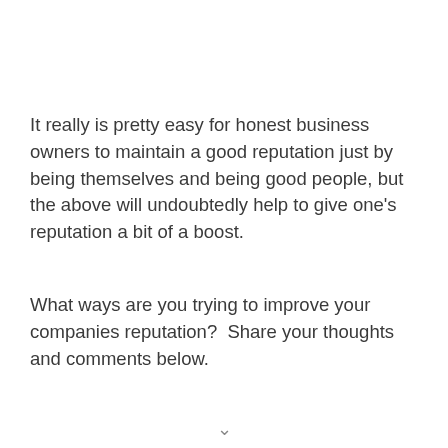It really is pretty easy for honest business owners to maintain a good reputation just by being themselves and being good people, but the above will undoubtedly help to give one's reputation a bit of a boost.
What ways are you trying to improve your companies reputation?  Share your thoughts and comments below.